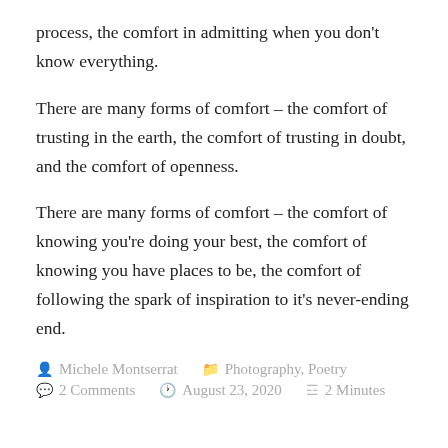process, the comfort in admitting when you don't know everything.
There are many forms of comfort – the comfort of trusting in the earth, the comfort of trusting in doubt, and the comfort of openness.
There are many forms of comfort – the comfort of knowing you're doing your best, the comfort of knowing you have places to be, the comfort of following the spark of inspiration to it's never-ending end.
Michele Montserrat   Photography, Poetry   2 Comments   August 23, 2020   2 Minutes